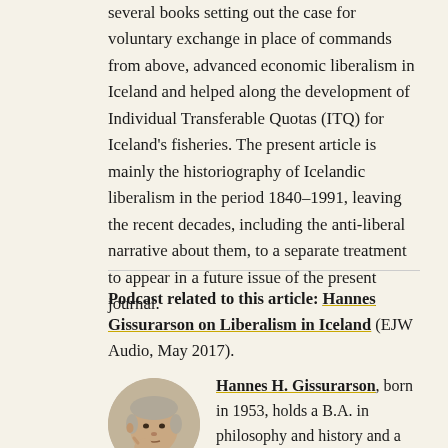several books setting out the case for voluntary exchange in place of commands from above, advanced economic liberalism in Iceland and helped along the development of Individual Transferable Quotas (ITQ) for Iceland's fisheries. The present article is mainly the historiography of Icelandic liberalism in the period 1840–1991, leaving the recent decades, including the anti-liberal narrative about them, to a separate treatment to appear in a future issue of the present journal.
Podcast related to this article: Hannes Gissurarson on Liberalism in Iceland (EJW Audio, May 2017).
[Figure (photo): Headshot photo of Hannes H. Gissurarson, an older man with grey hair, hand raised to his face in a thoughtful pose]
Hannes H. Gissurarson, born in 1953, holds a B.A. in philosophy and history and a cand. mag. [M.A.] in history from the University of Icela…